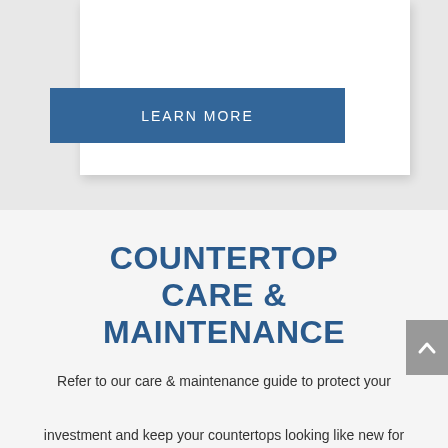[Figure (screenshot): Gray background section with a white card panel partially visible at top, and a steel blue 'LEARN MORE' button overlapping the card]
COUNTERTOP CARE & MAINTENANCE
Refer to our care & maintenance guide to protect your investment and keep your countertops looking like new for